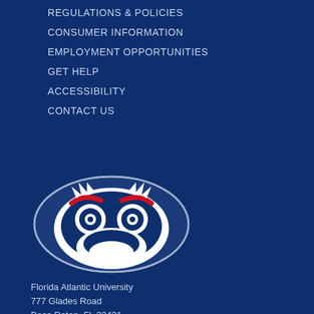REGULATIONS & POLICIES
CONSUMER INFORMATION
EMPLOYMENT OPPORTUNITIES
GET HELP
ACCESSIBILITY
CONTACT US
[Figure (logo): Florida Atlantic University owl mascot logo — an owl face in navy, white, and red inside an oval shape]
Florida Atlantic University
777 Glades Road
Boca Raton, FL 33431
CAMPUSES:
 Boca Raton / Dania Beach / Davie / Fort Lauderdale / Harbor Branch / Jupiter
FAU BUSINESS